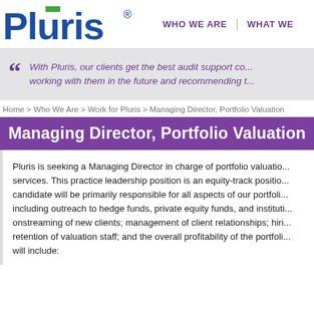[Figure (logo): Pluris logo with blue text and green bar accent, registered trademark symbol]
WHO WE ARE | WHAT WE
With Pluris, our clients get the best audit support co... working with them in the future and recommending t...
Home > Who We Are > Work for Pluris > Managing Director, Portfolio Valuation
Managing Director, Portfolio Valuation
Pluris is seeking a Managing Director in charge of portfolio valuation services. This practice leadership position is an equity-track position. The candidate will be primarily responsible for all aspects of our portfolio, including outreach to hedge funds, private equity funds, and institutional onstreaming of new clients; management of client relationships; hiring retention of valuation staff; and the overall profitability of the portfolio will include: